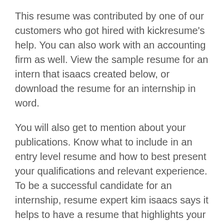This resume was contributed by one of our customers who got hired with kickresume's help. You can also work with an accounting firm as well. View the sample resume for an intern that isaacs created below, or download the resume for an internship in word.
You will also get to mention about your publications. Know what to include in an entry level resume and how to best present your qualifications and relevant experience. To be a successful candidate for an internship, resume expert kim isaacs says it helps to have a resume that highlights your skills and accomplishments.